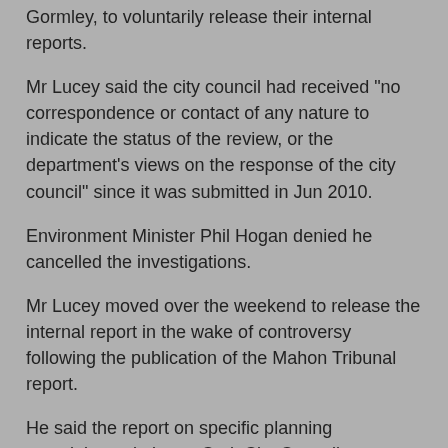Gormley, to voluntarily release their internal reports.
Mr Lucey said the city council had received "no correspondence or contact of any nature to indicate the status of the review, or the department's views on the response of the city council" since it was submitted in Jun 2010.
Environment Minister Phil Hogan denied he cancelled the investigations.
Mr Lucey moved over the weekend to release the internal report in the wake of controversy following the publication of the Mahon Tribunal report.
He said the report on specific planning complaints relating to Cork City Council, compiled by ex-city manager Joe Gavin, had nothing to do with the matters under investigation by the Mahon Tribunal.
He said he wanted to release the report to prove the council had nothing to hide. He said it was unfortunate that, in the